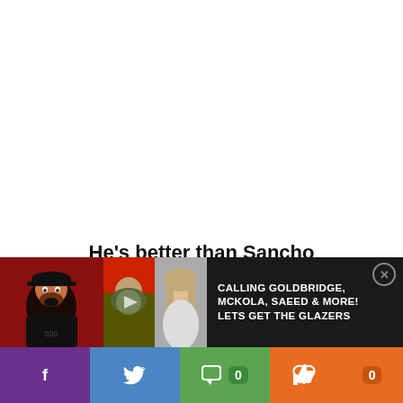He’s better than Sancho
Antony’s performances this past season have been impressive, not just in the Eredivisie but in the Champions League as well. He’s established himself as one of the most exciting young wingers and is rated at £31.5m.
[Figure (screenshot): Video banner showing multiple video thumbnails and text: CALLING GOLDBRIDGE, MCKOLA, SAEED & MORE! LETS GET THE GLAZERS]
[Figure (infographic): Social sharing bar with Facebook (purple), Twitter (blue), Comment (green, count 0), Like (orange, count 0) buttons]